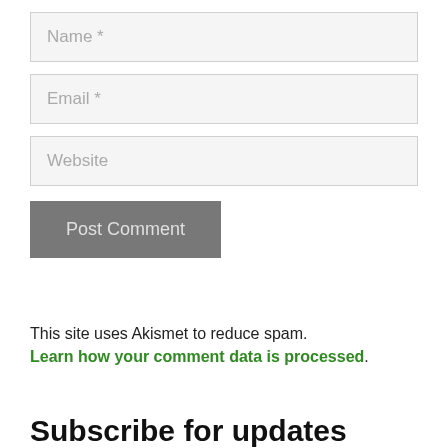Name *
Email *
Website
Post Comment
This site uses Akismet to reduce spam. Learn how your comment data is processed.
Subscribe for updates